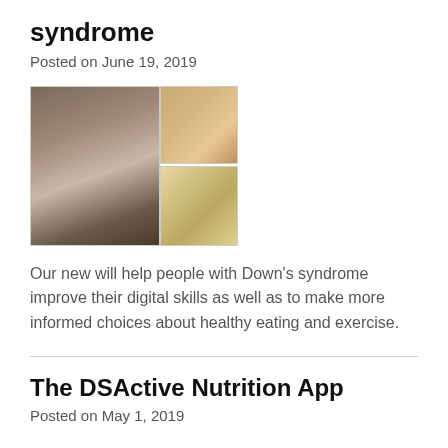syndrome
Posted on June 19, 2019
[Figure (photo): Composite photo showing a child with Down's syndrome from behind with dark hair on the left, and two smaller images on the right showing colorful papers or food items on a table.]
Our new will help people with Down’s syndrome improve their digital skills as well as to make more informed choices about healthy eating and exercise.
The DSActive Nutrition App
Posted on May 1, 2019